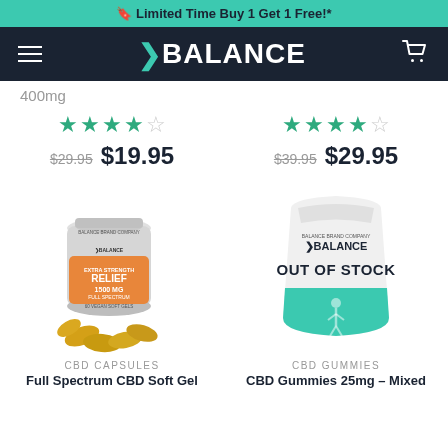🔖 Limited Time Buy 1 Get 1 Free!*
BALANCE
400mg
★★★★☆ $29.95 $19.95
★★★★☆ $39.95 $29.95
[Figure (photo): Balance brand Full Spectrum CBD Relief soft gel capsule bottle, orange label, 1500mg, with golden gel capsules scattered at base]
[Figure (photo): Balance brand CBD Gummies pouch with OUT OF STOCK overlay text, teal/mint colored lower portion with figure graphic]
CBD CAPSULES
Full Spectrum CBD Soft Gel
CBD GUMMIES
CBD Gummies 25mg – Mixed